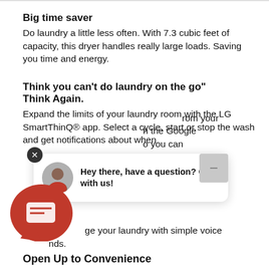Big time saver
Do laundry a little less often. With 7.3 cubic feet of capacity, this dryer handles really large loads. Saving you time and energy.
Think you can't do laundry on the go" Think Again.
Expand the limits of your laundry room with the LG SmartThinQ® app. Select a cycle, start or stop the wash and get notifications about when [partially obscured] rom your [partially obscured] h the Google [partially obscured] o you can [partially obscured] ge your laundry with simple voice [partially obscured] nds.
[Figure (screenshot): Chat widget overlay with red speech bubble icon containing a message icon, and a popup chat box showing an avatar of a person and text 'Hey there, have a question? Chat with us!' with a close (X) button and a scroll button.]
Open Up to Convenience